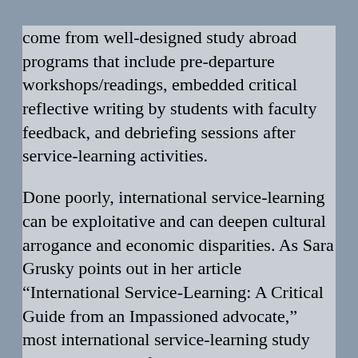come from well-designed study abroad programs that include pre-departure workshops/readings, embedded critical reflective writing by students with faculty feedback, and debriefing sessions after service-learning activities.
Done poorly, international service-learning can be exploitative and can deepen cultural arrogance and economic disparities. As Sara Grusky points out in her article “International Service-Learning: A Critical Guide from an Impassioned advocate,” most international service-learning study abroad programs from the U.S. are done in poor countries, and can become nothing more than ‘poverty tourism.’ (From the American Behavioral Scientist. 2000. 43: 858-867.)
New Zealand is not a poor country and it continues to rank much higher than the U.S. on many health